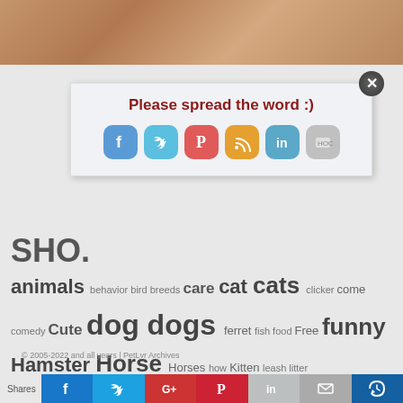[Figure (screenshot): Top portion of a pet website showing a popup overlay with social sharing icons (Facebook, Twitter, Pinterest, RSS, LinkedIn, other) and the text 'Please spread the word :)' in dark red. Below is partial text 'SHO.' and a tag cloud of pet-related keywords.]
Please spread the word :)
SHO.
animals behavior bird breeds care cat cats clicker come comedy Cute dog dogs ferret fish food Free funny Hamster Horse Horses how Kitten leash litter obedience parrot pet Pet Adoption pet health Pet rescue pet tips pet training puppies puppy rabbit rats stop teach to train training tricks video WHS
© 2005-2022 and all years | PetLvr Archives
Shares